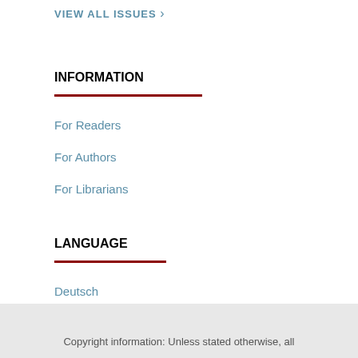VIEW ALL ISSUES →
INFORMATION
For Readers
For Authors
For Librarians
LANGUAGE
Deutsch
English
Copyright information: Unless stated otherwise, all